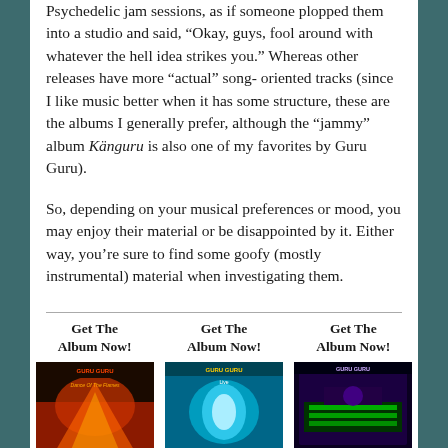Psychedelic jam sessions, as if someone plopped them into a studio and said, “Okay, guys, fool around with whatever the hell idea strikes you.” Whereas other releases have more “actual” song-oriented tracks (since I like music better when it has some structure, these are the albums I generally prefer, although the “jammy” album Känguru is also one of my favorites by Guru Guru).
So, depending on your musical preferences or mood, you may enjoy their material or be disappointed by it. Either way, you’re sure to find some goofy (mostly instrumental) material when investigating them.
Get The Album Now!
Get The Album Now!
Get The Album Now!
[Figure (photo): Album cover image 1 - Guru Guru album with fire/flames imagery]
[Figure (photo): Album cover image 2 - Guru Guru album with teal/blue imagery]
[Figure (photo): Album cover image 3 - Guru Guru album with dark fantasy imagery]